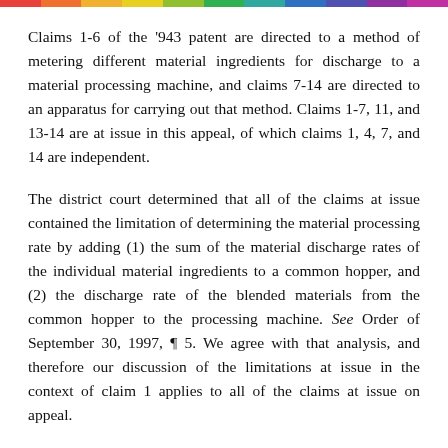Claims 1-6 of the '943 patent are directed to a method of metering different material ingredients for discharge to a material processing machine, and claims 7-14 are directed to an apparatus for carrying out that method. Claims 1-7, 11, and 13-14 are at issue in this appeal, of which claims 1, 4, 7, and 14 are independent.
The district court determined that all of the claims at issue contained the limitation of determining the material processing rate by adding (1) the sum of the material discharge rates of the individual material ingredients to a common hopper, and (2) the discharge rate of the blended materials from the common hopper to the processing machine. See Order of September 30, 1997, ¶ 5. We agree with that analysis, and therefore our discussion of the limitations at issue in the context of claim 1 applies to all of the claims at issue on appeal.
Claim 1 provides: